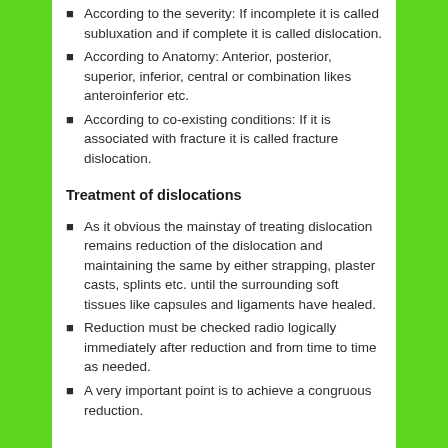According to the severity: If incomplete it is called subluxation and if complete it is called dislocation.
According to Anatomy: Anterior, posterior, superior, inferior, central or combination likes anteroinferior etc.
According to co-existing conditions: If it is associated with fracture it is called fracture dislocation.
Treatment of dislocations
As it obvious the mainstay of treating dislocation remains reduction of the dislocation and maintaining the same by either strapping, plaster casts, splints etc. until the surrounding soft tissues like capsules and ligaments have healed.
Reduction must be checked radio logically immediately after reduction and from time to time as needed.
A very important point is to achieve a congruous reduction.